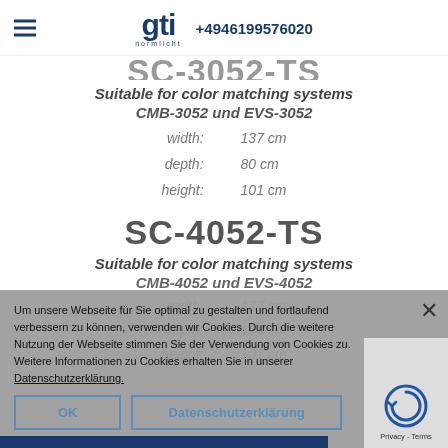gti normlicht +4946199576020
SC-3052-TS (partially visible)
Suitable for color matching systems
CMB-3052 und EVS-3052
| width: | 137 cm |
| depth: | 80 cm |
| height: | 101 cm |
SC-4052-TS
Suitable for color matching systems
CMB-4052 und EVS-4052
| width: | 137 cm |
| depth: | 104 cm |
| height: | 101 cm |
Um unsere Webseite für Sie optimal zu gestalten und fortlaufend verbessern zu können, verwenden wir Cookies. Durch die weitere Nutzung der Webseite stimmen Sie der Verwendung von Cookies zu. Weitere Informationen zu Cookies erhalten Sie in unserer Datenschutzerklärung.
OK
Datenschutzerklärung
Privacy - Terms